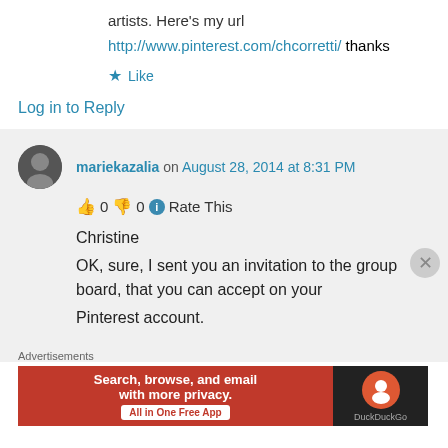artists. Here's my url
http://www.pinterest.com/chcorretti/ thanks
★ Like
Log in to Reply
mariekazalia on August 28, 2014 at 8:31 PM
👍 0 👎 0 ℹ Rate This
Christine
OK, sure, I sent you an invitation to the group board, that you can accept on your Pinterest account.
Advertisements
[Figure (other): DuckDuckGo advertisement banner: red left panel with 'Search, browse, and email with more privacy. All in One Free App' and dark right panel with DuckDuckGo logo]